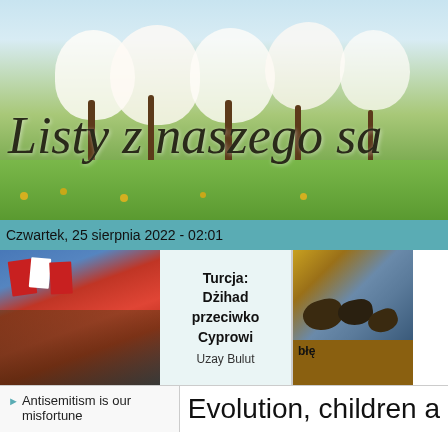[Figure (photo): Orchard with blooming white trees in spring, grassy ground with yellow flowers, blue sky background. Site banner with title 'Listy z naszego sa' (truncated) in italic serif font.]
Listy z naszego sa
Czwartek, 25 sierpnia 2022 - 02:01
[Figure (photo): Crowd scene with red Turkish flags and Northern Cyprus crescent flags.]
Turcja: Dżihad przeciwko Cyprowi
Uzay Bulut
[Figure (photo): Painting of horsemen riding at full gallop, classic Western or historical art style.]
błę
Antisemitism is our misfortune
Evolution, children a